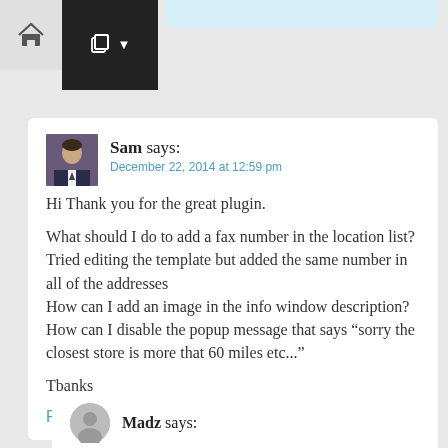[Figure (screenshot): Top navigation bar with home button icon and dark share/bookmark button with dropdown arrow, and a light blue bubble/banner at top right]
Sam says:
December 22, 2014 at 12:59 pm
Hi Thank you for the great plugin.

What should I do to add a fax number in the location list? Tried editing the template but added the same number in all of the addresses
How can I add an image in the info window description?
How can I disable the popup message that says “sorry the closest store is more that 60 miles etc...”

Tbanks
Reply
Madz says: